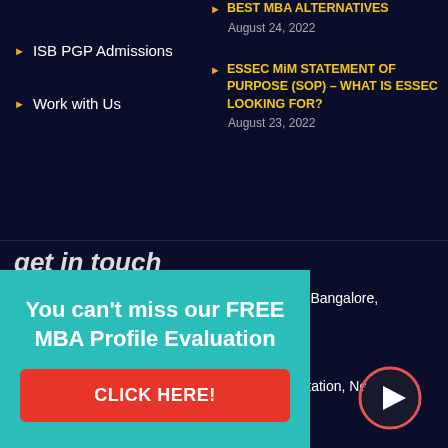ISB PGP Admissions
Work with Us
BEST MBA ALTERNATIVES
August 24, 2022
ESSEC MiM STATEMENT OF PURPOSE (SOP) – WHAT IS ESSEC LOOKING FOR?
August 23, 2022
get in touch
in India – Delhi, Bangalore,
ne [dot] com
ntarpur Metro Station, New
You can't miss our FREE MBA Profile Evaluation
CLICK HERE!
[Figure (logo): YouTube play button circle icon]